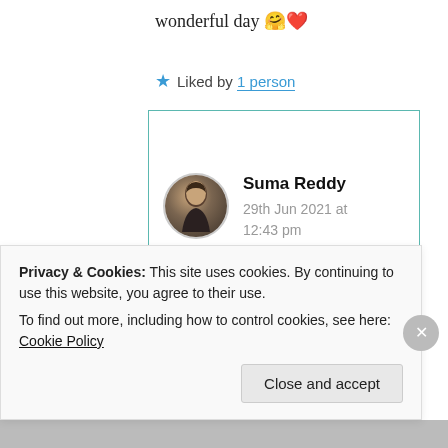wonderful day 🤗❤️
★ Liked by 1 person
Suma Reddy
29th Jun 2021 at 12:43 pm
Your words mean very special to me dear
Privacy & Cookies: This site uses cookies. By continuing to use this website, you agree to their use.
To find out more, including how to control cookies, see here: Cookie Policy
Close and accept